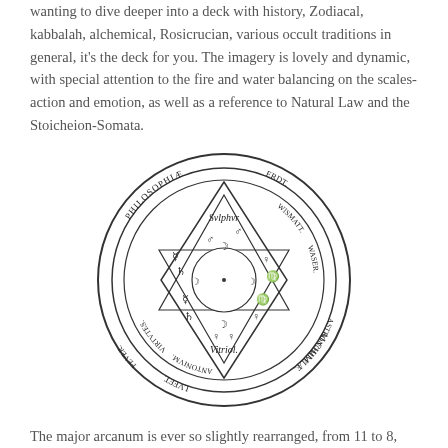wanting to dive deeper into a deck with history, Zodiacal, kabbalah, alchemical, Rosicrucian, various occult traditions in general, it's the deck for you. The imagery is lovely and dynamic, with special attention to the fire and water balancing on the scales- action and emotion, as well as a reference to Natural Law and the Stoicheion-Somata.
[Figure (illustration): Alchemical/occult circular diagram with seven-pointed star (heptagram) inside a double-ring circle. The outer ring contains Latin text including PHILOSOPHIAE, ERDT, ASTRONOMIAE, WISMATT, ALCHIMAE, WASER, LVFTT, VIRTUTES, ANTIMONIUM, FEVER. The inner area contains alchemical symbols and terms including SVLPHVR at top, VITRIOL at bottom, with various planetary and alchemical symbols (mercury, moon, mars, saturn, venus, etc.) in the triangular sections of the star.]
The major arcanum is ever so slightly rearranged, from 11 to 8,